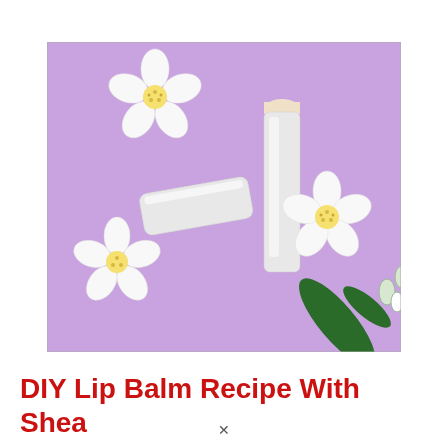[Figure (photo): Two white lip balm containers and white flowers (jasmine-like blossoms with yellow centers) arranged on a lavender/purple background. One lip balm is standing upright with the balm stick extended, the other is lying on its side with its cap off. Green foliage and flower buds are also visible.]
DIY Lip Balm Recipe With Shea